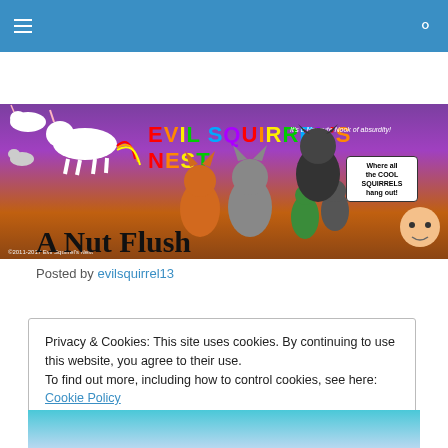Evil Squirrel's Nest navigation bar
[Figure (illustration): Evil Squirrel's Nest banner with cartoon characters including unicorns, foxes, raccoons, and other animals against a purple and brown landscape background. Rainbow-colored title text reads EVIL SQUIRREL'S NEST with subtitle 'It's a Noncute Nook of absurdity!' and speech bubble 'Where all the COOL SQUIRRELS hang out!' Copyright 2011-2017 Evil Squirrel's Nest]
A Nut Flush
Posted by evilsquirrel13
Privacy & Cookies: This site uses cookies. By continuing to use this website, you agree to their use.
To find out more, including how to control cookies, see here: Cookie Policy
Close and accept